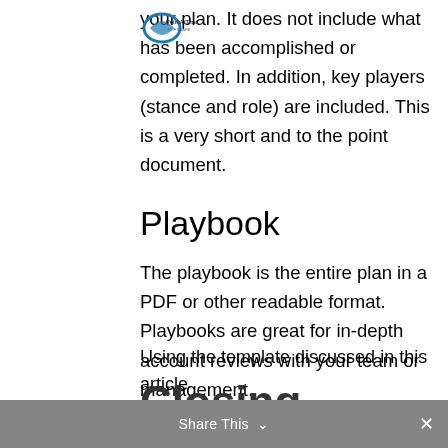your plan. It does not include what has been accomplished or completed. In addition, key players (stance and role) are included. This is a very short and to the point document.
Playbook
The playbook is the entire plan in a PDF or other readable format. Playbooks are great for in-depth account reviews with your team or management.
Closing
Using the template discussed in this article
Share This  ✕